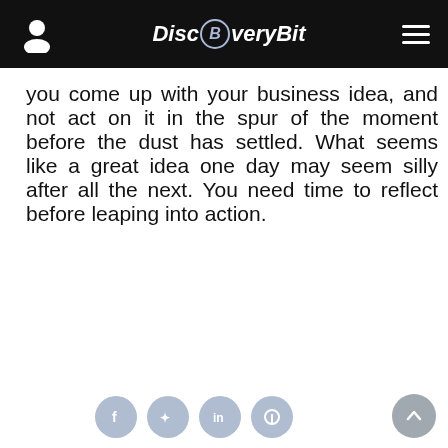DiscoveryBit
you come up with your business idea, and not act on it in the spur of the moment before the dust has settled. What seems like a great idea one day may seem silly after all the next. You need time to reflect before leaping into action.